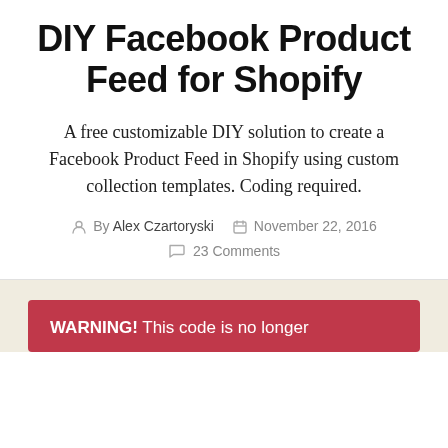DIY Facebook Product Feed for Shopify
A free customizable DIY solution to create a Facebook Product Feed in Shopify using custom collection templates. Coding required.
By Alex Czartoryski   November 22, 2016   23 Comments
WARNING! This code is no longer